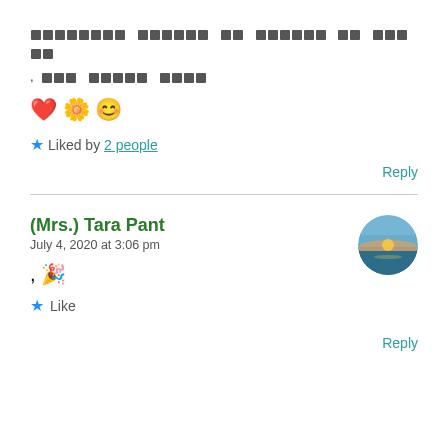[redacted text in non-Latin script], [redacted] [redacted] [redacted]
❤️ 🌼 😊
★ Liked by 2 people
Reply
(Mrs.) Tara Pant
July 4, 2020 at 3:06 pm
[Figure (photo): Round avatar image showing a landscape with sky and horizon]
, 🎉
★ Like
Reply